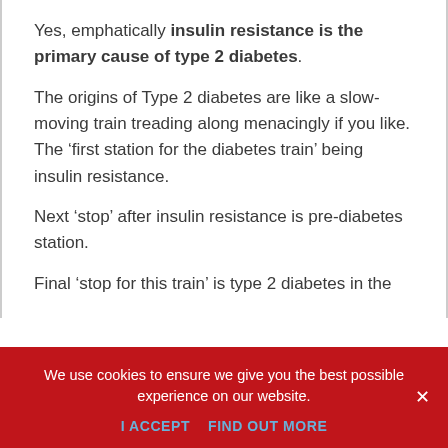Yes, emphatically insulin resistance is the primary cause of type 2 diabetes.
The origins of Type 2 diabetes are like a slow-moving train treading along menacingly if you like.
The ‘first station for the diabetes train’ being insulin resistance.
Next ‘stop’ after insulin resistance is pre-diabetes station.
Final ‘stop for this train’ is type 2 diabetes in the
We use cookies to ensure we give you the best possible experience on our website.
I ACCEPT   FIND OUT MORE